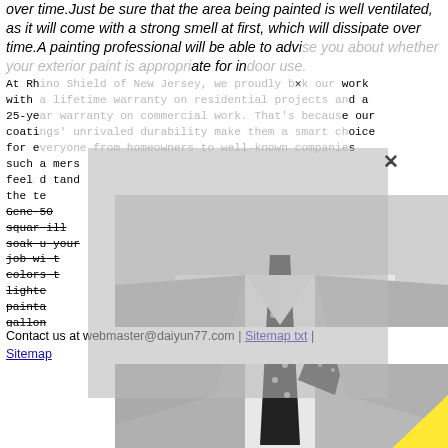over time.Just be sure that the area being painted is well ventilated, as it will come with a strong smell at first, which will dissipate over time.A painting professional will be able to advise you about whether your exterior paint is appropriate for indoor use.
At Rhino Shield of New Jersey, we proudly back our work with a lifetime warranty on residential projects and a 25-year warranty on commercial work. That's because our coatings' unrivaled durability make them a smart choice for everyone from homeowners to well-known companies such as...omers feel...tand the te...
[Figure (photo): Black and white photo of a man in a suit and tie with a yellow triangle graphic overlay and a gray semi-transparent dialog box overlay with an X close button]
Generally...50 square...will soak u...your job wi...t colors...t lighte...painta...gallons...number with less than .5 leftover, round down, if it's over .5 round up. House Painting
Contact us at webmaster@daiyun77.com | Sitemap txt | Sitemap